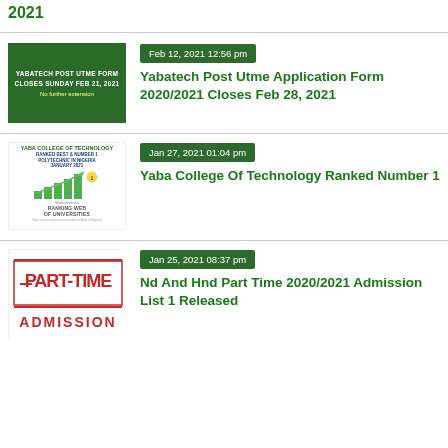2021
[Figure (illustration): Yabatech Post UTME Form thumbnail - green background with white text 'YABATECH POST UTME FORM Closes Sunday Feb 21, 2021 No further extension']
Feb 12, 2021 12:56 pm
Yabatech Post Utme Application Form 2020/2021 Closes Feb 28, 2021
[Figure (illustration): Yaba College of Technology thumbnail showing bar chart with upward arrow and Webometrics Ranking Web of Universities text]
Jan 27, 2021 01:04 pm
Yaba College Of Technology Ranked Number 1
[Figure (illustration): Part-Time Admission thumbnail with red stamp-style text]
Jan 25, 2021 08:37 pm
Nd And Hnd Part Time 2020/2021 Admission List 1 Released